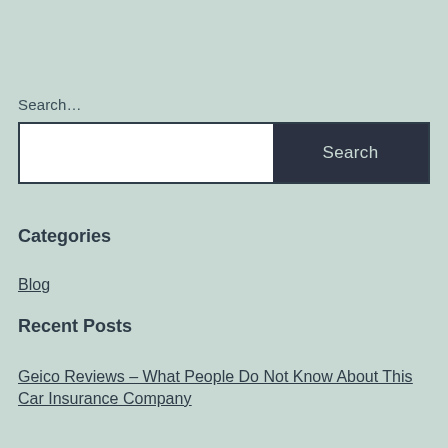Search…
Search
Categories
Blog
Recent Posts
Geico Reviews – What People Do Not Know About This Car Insurance Company